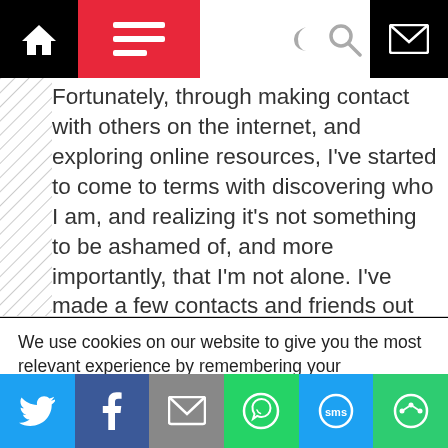Navigation bar with home, menu, moon, search, and mail icons
Fortunately, through making contact with others on the internet, and exploring online resources, I've started to come to terms with discovering who I am, and realizing it's not something to be ashamed of, and more importantly, that I'm not alone. I've made a few contacts and friends out there, and am making progress bit by bit, getting more courageous, but always working on my image, confidence, outfits, and appearance. I still
We use cookies on our website to give you the most relevant experience by remembering your preferences and repeat visits. By clicking “Accept”, you consent to the use of ALL the cookies.
Do not sell my personal information.
Social share bar: Twitter, Facebook, Email, WhatsApp, SMS, Share